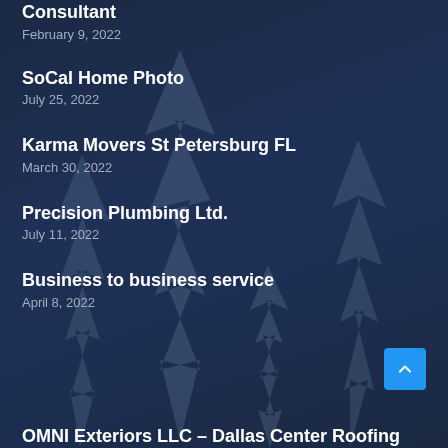Consultant
February 9, 2022
SoCal Home Photo
July 25, 2022
Karma Movers St Petersburg FL
March 30, 2022
Precision Plumbing Ltd.
July 11, 2022
Business to business service
April 8, 2022
OMNI Exteriors LLC – Dallas Center Roofing